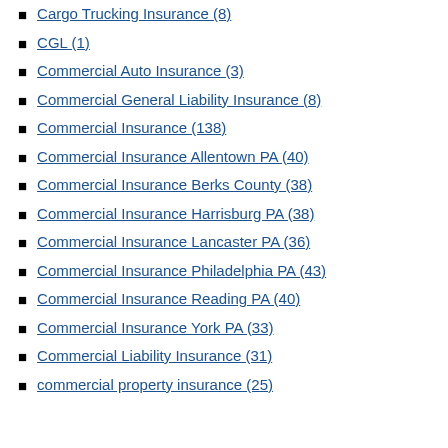Cargo Trucking Insurance (8)
CGL (1)
Commercial Auto Insurance (3)
Commercial General Liability Insurance (8)
Commercial Insurance (138)
Commercial Insurance Allentown PA (40)
Commercial Insurance Berks County (38)
Commercial Insurance Harrisburg PA (38)
Commercial Insurance Lancaster PA (36)
Commercial Insurance Philadelphia PA (43)
Commercial Insurance Reading PA (40)
Commercial Insurance York PA (33)
Commercial Liability Insurance (31)
commercial property insurance (25)